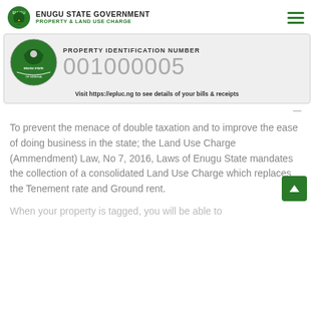ENUGU STATE GOVERNMENT PROPERTY & LAND USE CHARGE
[Figure (infographic): Property Identification Number card with Enugu State seal and number 001000005. Visit https://epluc.ng to see details of your bills & receipts.]
To prevent the menace of double taxation and to improve the ease of doing business in the state; the Land Use Charge (Ammendment) Law, No 7, 2016, Laws of Enugu State mandates the collection of a consolidated Land Use Charge which replaces the Tenement rate and Ground rent.
When your property is tagged, you will be able to